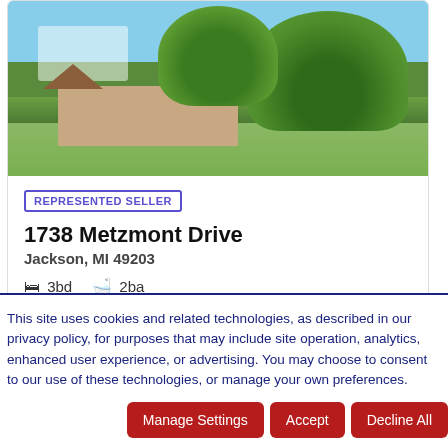[Figure (photo): Exterior photo of a residential house with large trees in the foreground, taken from street level. Green trees dominate the upper portion; a single-story house is partially visible.]
REPRESENTED SELLER
1738 Metzmont Drive
Jackson, MI 49203
3bd  2ba
Sold for: $300,000
Sold 7/29/2022
This site uses cookies and related technologies, as described in our privacy policy, for purposes that may include site operation, analytics, enhanced user experience, or advertising. You may choose to consent to our use of these technologies, or manage your own preferences.
Manage Settings
Accept
Decline All